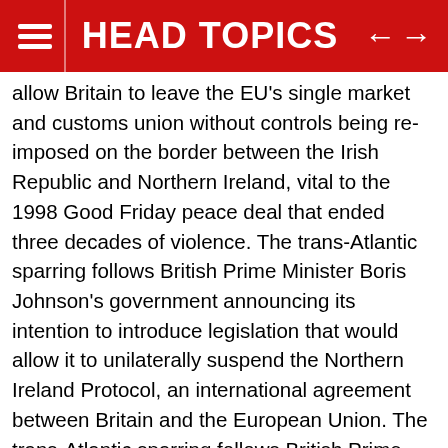HEAD TOPICS
allow Britain to leave the EU's single market and customs union without controls being re-imposed on the border between the Irish Republic and Northern Ireland, vital to the 1998 Good Friday peace deal that ended three decades of violence. The trans-Atlantic sparring follows British Prime Minister Boris Johnson's government announcing its intention to introduce legislation that would allow it to unilaterally suspend the Northern Ireland Protocol, an international agreement between Britain and the European Union. The trans-Atlantic sparring follows British Prime Minister Boris Johnson's government announcing its intention to introduce legislation that would allow it to unilaterally suspend the Northern Ireland Protocol, an international agreement between Britain and the European Union. By striking such a deal, he effectively agreed to a customs border between Northern Ireland and the rest of the United Kingdom. Britain now says the protocol is